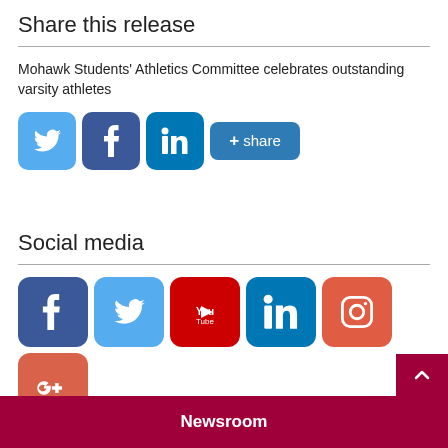Share this release
Mohawk Students' Athletics Committee celebrates outstanding varsity athletes
[Figure (infographic): Social share buttons: Twitter, Facebook, LinkedIn, and a +share button]
Social media
[Figure (infographic): Social media icons: Facebook, Twitter, YouTube, LinkedIn, Instagram, Google+]
Newsroom